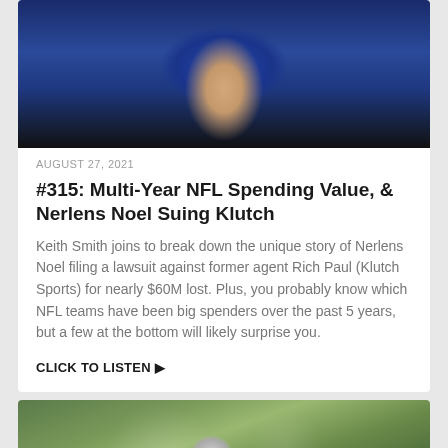[Figure (photo): Photo of a coach or person in navy blue jacket with red accent, viewed from behind/side]
AUGUST 27, 2021
#315: Multi-Year NFL Spending Value, & Nerlens Noel Suing Klutch
Keith Smith joins to break down the unique story of Nerlens Noel filing a lawsuit against former agent Rich Paul (Klutch Sports) for nearly $60M lost. Plus, you probably know which NFL teams have been big spenders over the past 5 years, but a few at the bottom will likely surprise you.
CLICK TO LISTEN ▶
[Figure (photo): Photo of a man with white baseball cap against a blurred green outdoor background]